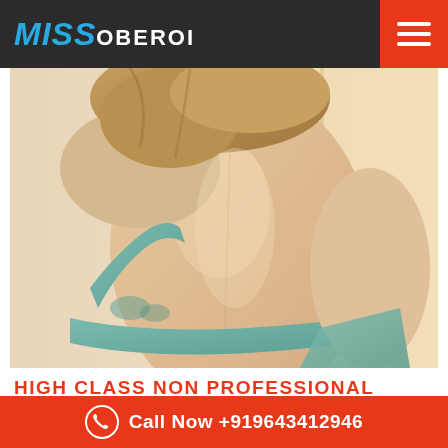MISS OBEROI
[Figure (photo): Close-up photo of a woman's back wearing a teal/mint colored lace bralette, photographed from behind showing bare skin and shoulder area]
HIGH CLASS NON PROFESSIONAL CALL GIRLS IN AEROCITY
We want you to choose us because we know your demands and priorities and hence we come to you with the Russian Escorts in Aerocity so that you can entertain yourself with the best possible choice and can taste the delicacy of foreignism. We know
Call Now +919643412946